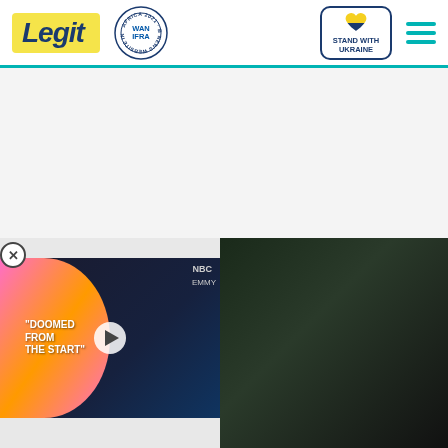Legit | WAN-IFRA Best News Website in Africa 2021 | Stand With Ukraine
[Figure (screenshot): Legit.ng website header with logo, WAN-IFRA 2021 Best News Website in Africa badge, Stand With Ukraine badge, and hamburger menu]
[Figure (photo): Video player widget showing two people at Emmy awards with text 'DOOMED FROM THE START' on a colorful overlay, NBC and EMMY logos visible, with play button and minimize chevron. Dark photo in background on the right side.]